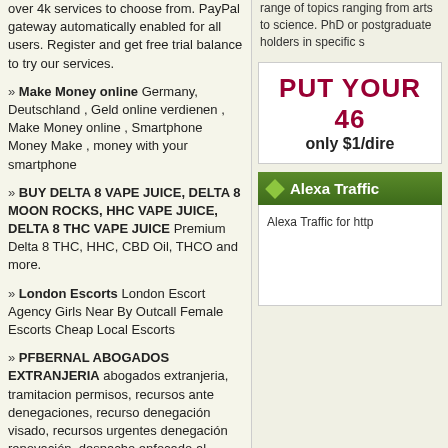over 4k services to choose from. PayPal gateway automatically enabled for all users. Register and get free trial balance to try our services.
» Make Money online Germany, Deutschland , Geld online verdienen , Make Money online , Smartphone Money Make , money with your smartphone
» BUY DELTA 8 VAPE JUICE, DELTA 8 MOON ROCKS, HHC VAPE JUICE, DELTA 8 THC VAPE JUICE Premium Delta 8 THC, HHC, CBD Oil, THCO and more.
» London Escorts London Escort Agency Girls Near By Outcall Female Escorts Cheap Local Escorts
» PFBERNAL ABOGADOS EXTRANJERIA abogados extranjeria, tramitacion permisos, recursos ante denegaciones, recurso denegación visado, recursos urgentes denegación renovación, despacho enfocado al resultado,cancelacion antecedentes penales, nacionalidad, expulsion, entrada en España
» smm panel SMMWEBS is an SMM PANEL company that provides a service that helps you access hundreds of SMM websites to promote your business online. Boost Your SMM Panel FREE 2022.
range of topics ranging from arts to science. PhD or postgraduate holders in specific s
[Figure (infographic): Advertisement box with dark red bold text 'PUT YOUR 46' and subtext 'only $1/dire']
Alexa Traffic
Alexa Traffic for http